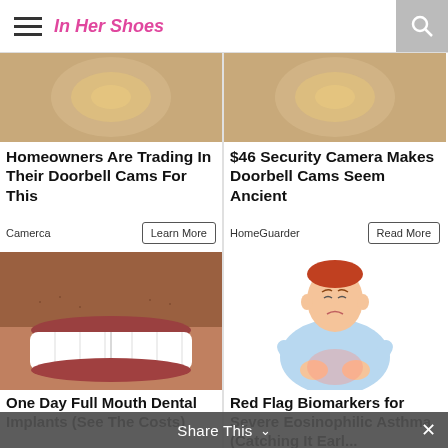In Her Shoes
[Figure (photo): Close-up photo of a doorbell camera / gold ring top portion (left ad image)]
Homeowners Are Trading In Their Doorbell Cams For This
Camerca   Learn More
[Figure (photo): Close-up photo of a doorbell camera / gold ring top portion (right ad image)]
$46 Security Camera Makes Doorbell Cams Seem Ancient
HomeGuarder   Read More
[Figure (photo): Close-up photo of a person's smile showing full set of white dental implants]
One Day Full Mouth Dental Implants (See The Costs)
Dental Implants | Search Ads
[Figure (illustration): Cartoon illustration of a person holding their stomach area, indicating pain, related to eosinophilic asthma]
Red Flag Biomarkers for Severe Eosinophilic Asthma (Catching It Earl...
Asthma | Search Ads
Share This